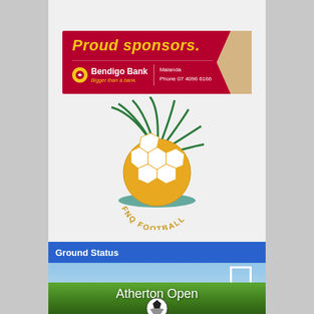[Figure (infographic): Bendigo Bank proud sponsors banner — red background with yellow italic text 'Proud sponsors.' and Bendigo Bank logo with Malanda branch contact: Phone 07 4096 6166]
[Figure (logo): FNQ Football logo — golden soccer ball with green palm fronds and teal swoosh, text 'FNQ FOOTBALL' in gold arc below]
Ground Status
[Figure (photo): Soccer field photo with blue sky and green grass, goalpost visible at right, text 'Atherton Open' overlaid in white, soccer ball at bottom center]